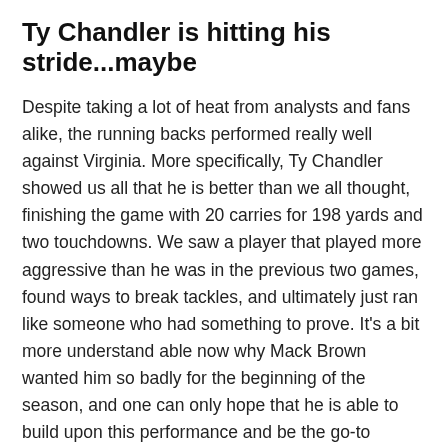Ty Chandler is hitting his stride...maybe
Despite taking a lot of heat from analysts and fans alike, the running backs performed really well against Virginia. More specifically, Ty Chandler showed us all that he is better than we all thought, finishing the game with 20 carries for 198 yards and two touchdowns. We saw a player that played more aggressive than he was in the previous two games, found ways to break tackles, and ultimately just ran like someone who had something to prove. It's a bit more understand able now why Mack Brown wanted him so badly for the beginning of the season, and one can only hope that he is able to build upon this performance and be the go-to running back for the Tar Heels.
While it's easy to give credit to Chandler alone, we also have to give props to the offensive line. They were able